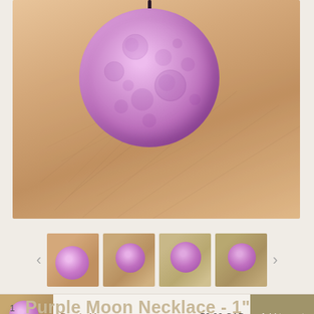[Figure (photo): Close-up photo of a purple moon-textured circular pendant necklace resting in an open hand. The pendant is a lavender/purple anodized niobium disc with crater-like texture, hanging from a dark chain.]
[Figure (photo): Thumbnail strip showing four small images of the purple moon necklace from different angles/backgrounds.]
Purple Mo...
50.00 CAD
Add to cart
1
Purple Moon Necklace - 1" Anodized Niobium